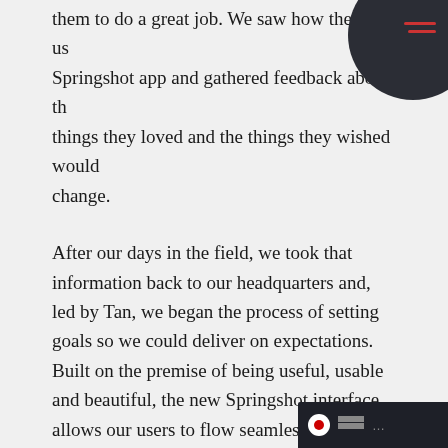them to do a great job. We saw how they used the Springshot app and gathered feedback about the things they loved and the things they wished would change.
After our days in the field, we took that information back to our headquarters and, led by Tan, we began the process of setting goals so we could deliver on expectations. Built on the premise of being useful, usable and beautiful, the new Springshot interface allows our users to flow seamlessly through their workdays, cutting down the time and steps it takes to complete a task by as much as 50 percent.
With the new user interface, we are empowering travel industry workers like never before, and thrilled that the UX Award recognized for